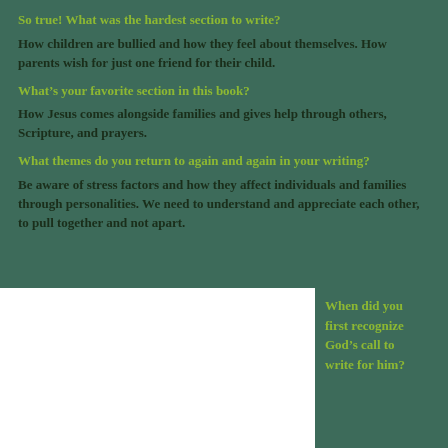So true! What was the hardest section to write?
How children are bullied and how they feel about themselves. How parents wish for just one friend for their child.
What’s your favorite section in this book?
How Jesus comes alongside families and gives help through others, Scripture, and prayers.
What themes do you return to again and again in your writing?
Be aware of stress factors and how they affect individuals and families through personalities. We need to understand and appreciate each other, to pull together and not apart.
[Figure (photo): White rectangular image placeholder in bottom left]
When did you first recognize God’s call to write for him?